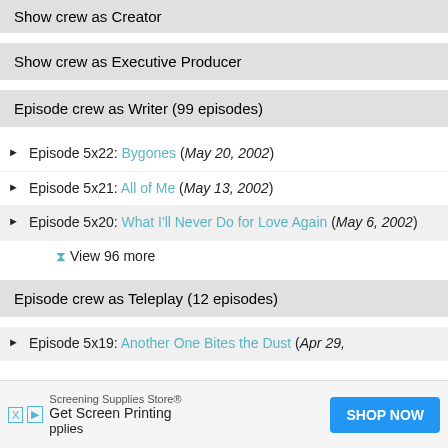Show crew as Creator
Show crew as Executive Producer
Episode crew as Writer (99 episodes)
Episode 5x22: Bygones (May 20, 2002)
Episode 5x21: All of Me (May 13, 2002)
Episode 5x20: What I'll Never Do for Love Again (May 6, 2002)
View 96 more
Episode crew as Teleplay (12 episodes)
Episode 5x19: Another One Bites the Dust (Apr 29,
Screening Supplies Store® Get Screen Printing pplies SHOP NOW